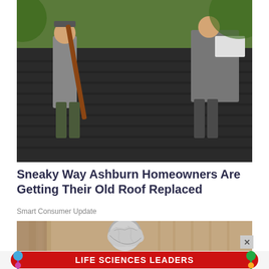[Figure (photo): Two workers on a roof installing dark shingles, one holding a long-handled tool]
Sneaky Way Ashburn Homeowners Are Getting Their Old Roof Replaced
Smart Consumer Update
[Figure (photo): Close-up of a door knob wrapped in aluminum foil against a tan/beige door]
[Figure (infographic): Advertisement banner: LIFE SCIENCES LEADERS with colorful decorative dots on left and right sides on a red rounded banner]